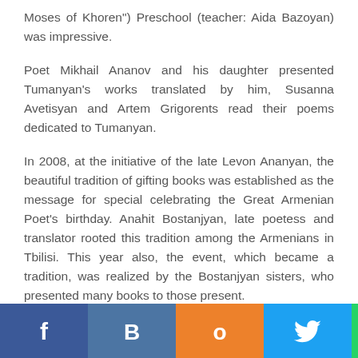Moses of Khoren") Preschool (teacher: Aida Bazoyan) was impressive.
Poet Mikhail Ananov and his daughter presented Tumanyan’s works translated by him, Susanna Avetisyan and Artem Grigorents read their poems dedicated to Tumanyan.
In 2008, at the initiative of the late Levon Ananyan, the beautiful tradition of gifting books was established as the message for special celebrating the Great Armenian Poet’s birthday. Anahit Bostanjyan, late poetess and translator rooted this tradition among the Armenians in Tbilisi. This year also, the event, which became a tradition, was realized by the Bostanjyan sisters, who presented many books to those present.
[Figure (infographic): Social media share buttons: Facebook (blue), VK (blue), Odnoklassniki (orange), Twitter (light blue), WhatsApp (green), Viber (purple)]